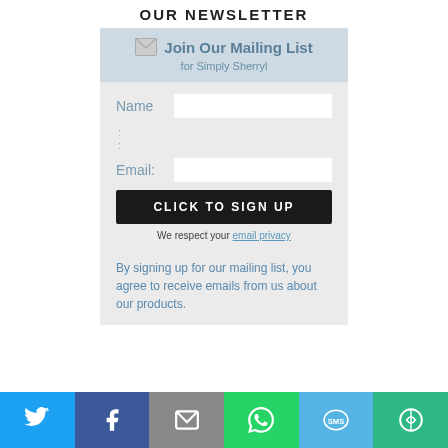OUR NEWSLETTER
Join Our Mailing List
for Simply Sherryl
Name
:
Email:
CLICK TO SIGN UP
We respect your email privacy
By signing up for our mailing list, you agree to receive emails from us about our products.
[Figure (infographic): Social share bar with Twitter, Facebook, Email, WhatsApp, SMS, and More buttons]